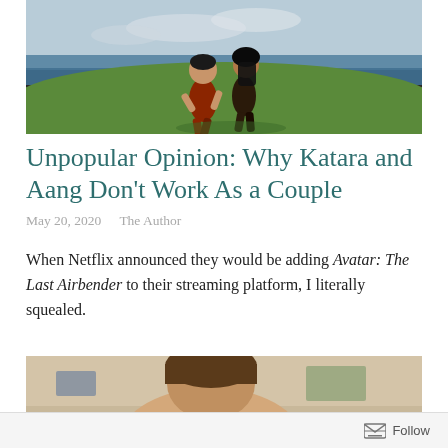[Figure (illustration): Animated scene from Avatar: The Last Airbender showing two characters in a fighting stance on a grassy field with ocean in the background. Dark border framing.]
Unpopular Opinion: Why Katara and Aang Don't Work As a Couple
May 20, 2020   The Author
When Netflix announced they would be adding Avatar: The Last Airbender to their streaming platform, I literally squealed.
[Figure (photo): Partial photo of a person, cropped, showing upper portion of head and shoulders against an indoor background.]
Follow